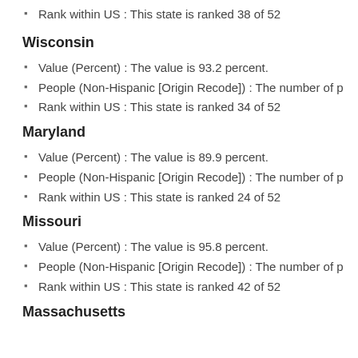Rank within US : This state is ranked 38 of 52
Wisconsin
Value (Percent) : The value is 93.2 percent.
People (Non-Hispanic [Origin Recode]) : The number of p
Rank within US : This state is ranked 34 of 52
Maryland
Value (Percent) : The value is 89.9 percent.
People (Non-Hispanic [Origin Recode]) : The number of p
Rank within US : This state is ranked 24 of 52
Missouri
Value (Percent) : The value is 95.8 percent.
People (Non-Hispanic [Origin Recode]) : The number of p
Rank within US : This state is ranked 42 of 52
Massachusetts